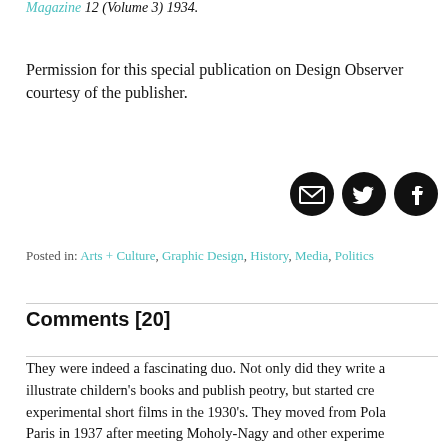Magazine 12 (Volume 3) 1934.
Permission for this special publication on Design Observer courtesy of the publisher.
[Figure (other): Three circular social sharing icons: email, Twitter, Facebook — black circles with white icons]
Posted in: Arts + Culture, Graphic Design, History, Media, Politics
Comments [20]
They were indeed a fascinating duo. Not only did they write and illustrate childern's books and publish peotry, but started creating experimental short films in the 1930's. They moved from Poland to Paris in 1937 after meeting Moholy-Nagy and other experimental artists to continue their work.
Sefan joined the Polish Army in World War II, and, after his regiment was disbanded, travelled across occupied France from 1940...